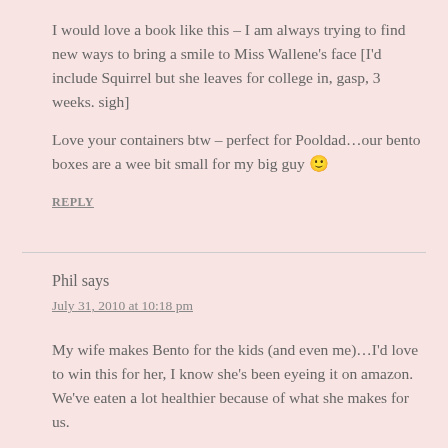I would love a book like this – I am always trying to find new ways to bring a smile to Miss Wallene's face [I'd include Squirrel but she leaves for college in, gasp, 3 weeks. sigh]
Love your containers btw – perfect for Pooldad…our bento boxes are a wee bit small for my big guy 🙂
REPLY
Phil says
July 31, 2010 at 10:18 pm
My wife makes Bento for the kids (and even me)…I'd love to win this for her, I know she's been eyeing it on amazon. We've eaten a lot healthier because of what she makes for us.